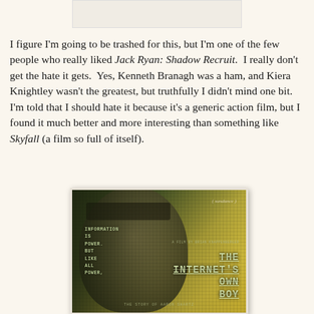[Figure (photo): Partial white/light box at top of page, appears to be cropped image from previous section]
I figure I'm going to be trashed for this, but I'm one of the few people who really liked Jack Ryan: Shadow Recruit.  I really don't get the hate it gets.  Yes, Kenneth Branagh was a ham, and Kiera Knightley wasn't the greatest, but truthfully I didn't mind one bit.  I'm told that I should hate it because it's a generic action film, but I found it much better and more interesting than something like Skyfall (a film so full of itself).
[Figure (photo): Movie poster for 'The Internet's Own Boy' — a documentary. Shows a face overlaid with a green-yellow grid pattern. Text reads: INFORMATION IS POWER. BUT LIKE ALL POWER, with Sundance laurels in top right, and THE INTERNET'S OWN BOY as the main title with strikethrough styling.]